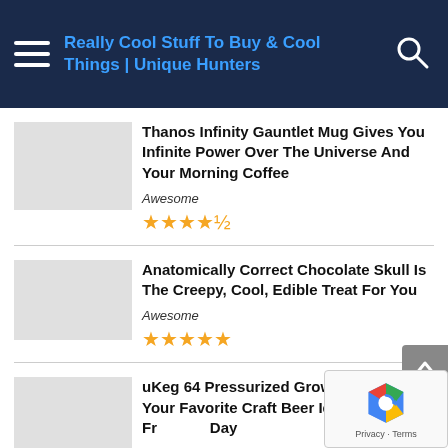Really Cool Stuff To Buy & Cool Things | Unique Hunters
Thanos Infinity Gauntlet Mug Gives You Infinite Power Over The Universe And Your Morning Coffee
Awesome
★★★★½
Anatomically Correct Chocolate Skull Is The Creepy, Cool, Edible Treat For You
Awesome
★★★★★
uKeg 64 Pressurized Growler Keeps Your Favorite Craft Beer Ice Cold And Fresh All Day
Awesome